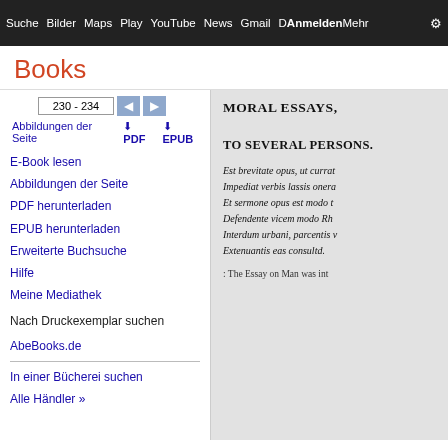Suche Bilder Maps Play YouTube News Gmail Mehr Anmelden
Books
230 - 234
Abbildungen der Seite
PDF
EPUB
E-Book lesen
Abbildungen der Seite
PDF herunterladen
EPUB herunterladen
Erweiterte Buchsuche
Hilfe
Meine Mediathek
Nach Druckexemplar suchen
AbeBooks.de
In einer Bücherei suchen
Alle Händler »
MORAL ESSAYS,
TO SEVERAL PERSONS.
Est brevitate opus, ut currat
Impediat verbis lassis onera
Et sermone opus est modo t
Defendente vicem modo Rh
Interdum urbani, parcentis v
Extenuantis eas consultd.
: The Essay on Man was int